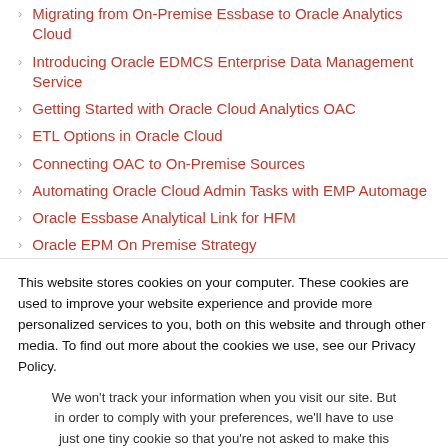Migrating from On-Premise Essbase to Oracle Analytics Cloud
Introducing Oracle EDMCS Enterprise Data Management Service
Getting Started with Oracle Cloud Analytics OAC
ETL Options in Oracle Cloud
Connecting OAC to On-Premise Sources
Automating Oracle Cloud Admin Tasks with EMP Automage
Oracle Essbase Analytical Link for HFM
Oracle EPM On Premise Strategy
This website stores cookies on your computer. These cookies are used to improve your website experience and provide more personalized services to you, both on this website and through other media. To find out more about the cookies we use, see our Privacy Policy.
We won't track your information when you visit our site. But in order to comply with your preferences, we'll have to use just one tiny cookie so that you're not asked to make this choice again.